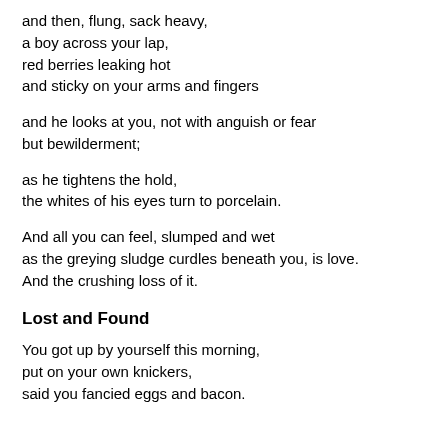and then, flung, sack heavy,
a boy across your lap,
red berries leaking hot
and sticky on your arms and fingers
and he looks at you, not with anguish or fear
but bewilderment;
as he tightens the hold,
the whites of his eyes turn to porcelain.
And all you can feel, slumped and wet
as the greying sludge curdles beneath you, is love.
And the crushing loss of it.
Lost and Found
You got up by yourself this morning,
put on your own knickers,
said you fancied eggs and bacon.